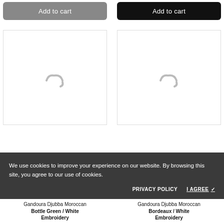Add to cart (left button)
Add to cart (right button)
[Figure (photo): Product image placeholder left - loading spinner icon]
[Figure (photo): Product image placeholder right - loading spinner icon]
We use cookies to improve your experience on our website. By browsing this site, you agree to our use of cookies.
PRIVACY POLICY
I AGREE ✓
Gandoura Djubba Moroccan Bottle Green / White Embroidery
Gandoura Djubba Moroccan Bordeaux / White Embroidery